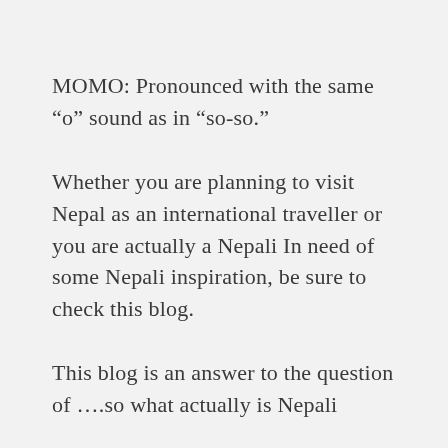MOMO: Pronounced with the same “o” sound as in “so-so.”
Whether you are planning to visit Nepal as an international traveller or you are actually a Nepali In need of some Nepali inspiration, be sure to check this blog.
This blog is an answer to the question of ….so what actually is Nepali